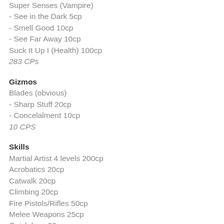Super Senses (Vampire)
- See in the Dark 5cp
- Smell Good 10cp
- See Far Away 10cp
Suck It Up I (Health) 100cp
283 CPs
Gizmos
Blades (obvious)
- Sharp Stuff 20cp
- Concelalment 10cp
10 CPS
Skills
Martial Artist 4 levels 200cp
Acrobatics 20cp
Catwalk 20cp
Climbing 20cp
Fire Pistols/Rifles 50cp
Melee Weapons 25cp
Quickdraw 20cp
Survival 10cp
375 CPs